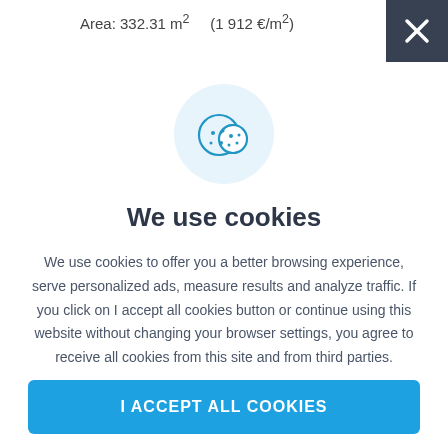Area: 332.31 m²    (1 912 €/m²)
[Figure (illustration): Cookie icon: two overlapping cookie circles with chocolate chip dots, drawn in blue outline on a light blue circular background]
We use cookies
We use cookies to offer you a better browsing experience, serve personalized ads, measure results and analyze traffic. If you click on I accept all cookies button or continue using this website without changing your browser settings, you agree to receive all cookies from this site and from third parties.
I ACCEPT ALL COOKIES